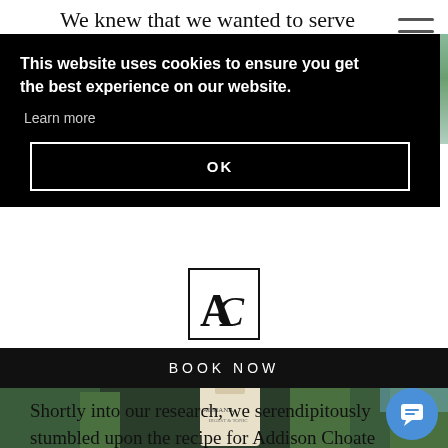We knew that we wanted to serve granola as a
This website uses cookies to ensure you get the best experience on our website.
Learn more
OK
[Figure (logo): AC logo mark — a stylized 'A' and 'C' inside a square border]
BOOK NOW
[Figure (photo): Photo of an Almanac bottle surrounded by green tropical plants]
Shortly into our research, we serendipitously stumbled upon the recipe for Addison Choate